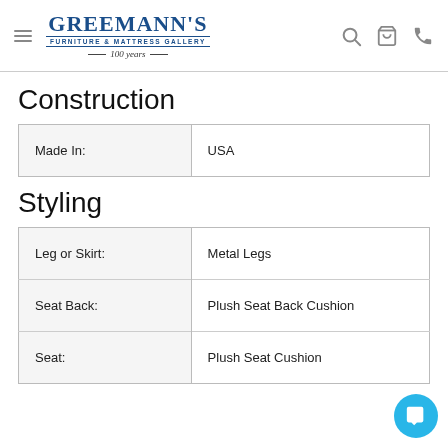Greemann's Furniture & Mattress Gallery — 100 years
Construction
| Made In: | USA |
| --- | --- |
| Made In: | USA |
Styling
| Attribute | Value |
| --- | --- |
| Leg or Skirt: | Metal Legs |
| Seat Back: | Plush Seat Back Cushion |
| Seat: | Plush Seat Cushion |